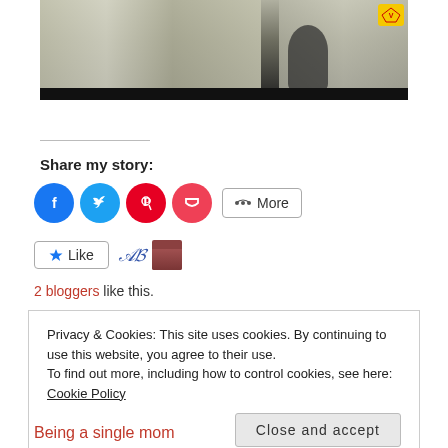[Figure (screenshot): Video thumbnail showing curtains/drapes with a dark silhouette figure, dark bottom bar, and yellow TV channel logo badge in top-right corner]
Share my story:
[Figure (infographic): Social sharing buttons: Facebook (blue circle), Twitter (light blue circle), Pinterest (red circle), Pocket (pink-red circle), and a More button with share icon]
[Figure (infographic): Like button with star icon, script-style avatar, and photo avatar thumbnail]
2 bloggers like this.
Privacy & Cookies: This site uses cookies. By continuing to use this website, you agree to their use.
To find out more, including how to control cookies, see here: Cookie Policy
Close and accept
Being a single mom